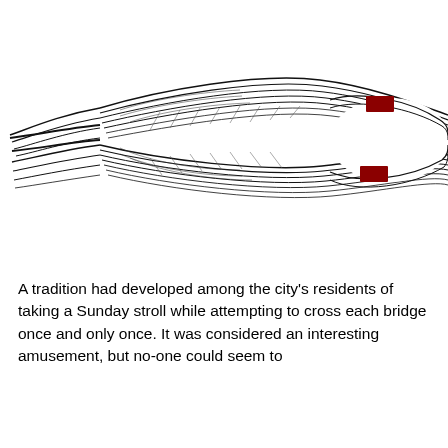[Figure (illustration): A black and white line drawing of a bridge or river landmass diagram showing a forked shape — two strands diverging from a point on the left, curving around to form an oval/island shape on the right, with two red rectangular markers (bridges) on the upper and lower strands of the oval.]
A tradition had developed among the city's residents of taking a Sunday stroll while attempting to cross each bridge once and only once. It was considered an interesting amusement, but no-one could seem to